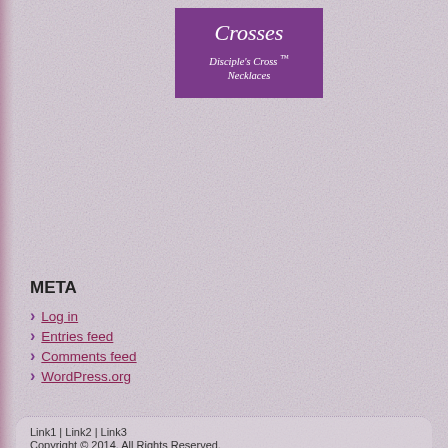[Figure (logo): Purple square logo with italic white text reading 'Crosses' and subtitle 'Disciple's Cross ™ Necklaces']
META
Log in
Entries feed
Comments feed
WordPress.org
Link1 | Link2 | Link3
Copyright © 2014. All Rights Reserved.